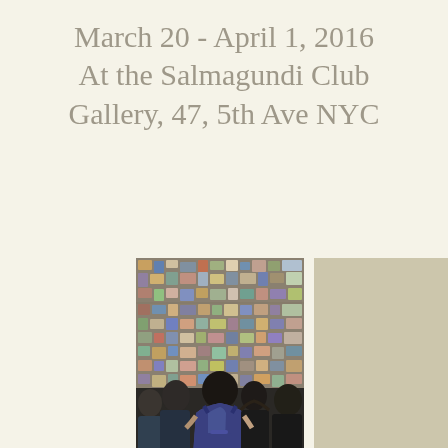March 20 - April 1, 2016 At the Salmagundi Club Gallery, 47, 5th Ave NYC
[Figure (photo): Painting of several women viewed from behind, standing in front of a wall covered in colorful artwork and masks. The central figure wears a blue dress and holds a blue handbag.]
[Figure (photo): Placeholder tan/beige colored rectangle (image not loaded)]
[Figure (photo): Placeholder tan/beige colored rectangle (image not loaded)]
[Figure (photo): Placeholder tan/beige colored rectangle (image not loaded)]